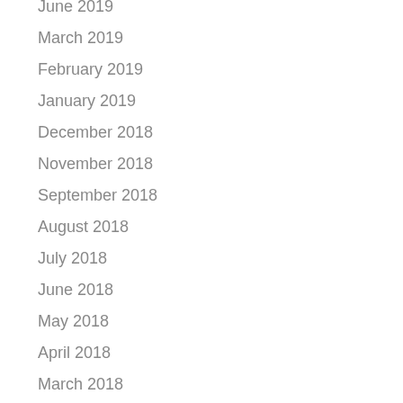June 2019
March 2019
February 2019
January 2019
December 2018
November 2018
September 2018
August 2018
July 2018
June 2018
May 2018
April 2018
March 2018
February 2018
January 2018